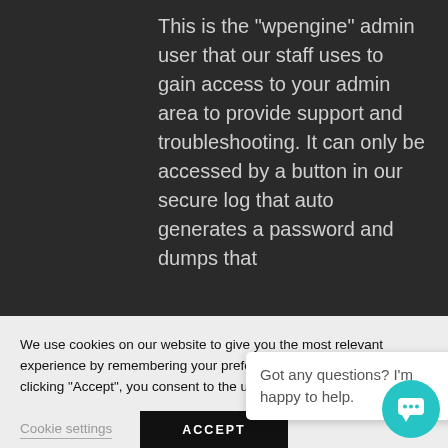[Figure (screenshot): Screenshot of a website with a dark background showing text about the 'wpengine' admin user. A cookie consent banner overlays the bottom portion, along with a chat assistant popup bubble and a teal chat icon button.]
This is the "wpengine" admin user that our staff uses to gain access to your admin area to provide support and troubleshooting. It can only be accessed by a button in our secure log that auto generates a password and dumps that password after the staff member has logged in. It is not going to be shared with any of our clients ever.
We use cookies on our website to give you the most relevant experience by remembering your preferences and repeat visits. By clicking "Accept", you consent to the use of ALL the cookies. However you may visit Cookie Settings to provide a controlled consent.
Got any questions? I'm happy to help.